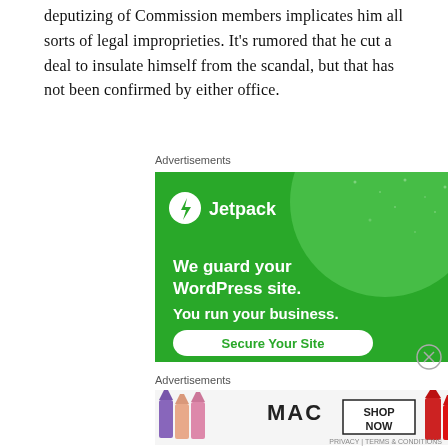deputizing of Commission members implicates him all sorts of legal improprieties. It's rumored that he cut a deal to insulate himself from the scandal, but that has not been confirmed by either office.
Advertisements
[Figure (screenshot): Jetpack advertisement: green background with large light green circle, Jetpack logo and name, text 'We guard your WordPress site. You run your business.' with 'Secure Your Site' button]
Advertisements
[Figure (screenshot): MAC Cosmetics advertisement showing lipsticks in purple, peach, pink, red colors with MAC logo and 'SHOP NOW' button]
PRIVACY | TERMS & CONDITIONS